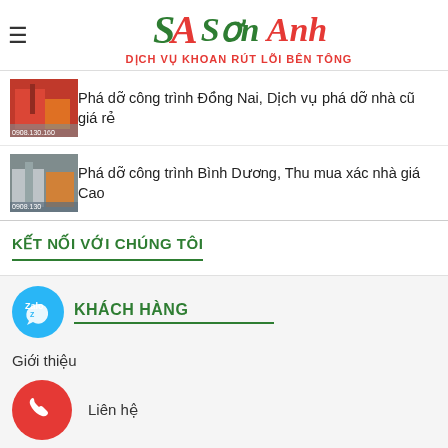[Figure (logo): Sơn Anh logo with SA emblem and text 'DỊCH VỤ KHOAN RÚT LÕI BÊN TÔNG']
Phá dỡ công trình Đồng Nai, Dịch vụ phá dỡ nhà cũ giá rẻ
Phá dỡ công trình Bình Dương, Thu mua xác nhà giá Cao
KẾT NỐI VỚI CHÚNG TÔI
KHÁCH HÀNG
Giới thiệu
Liên hệ